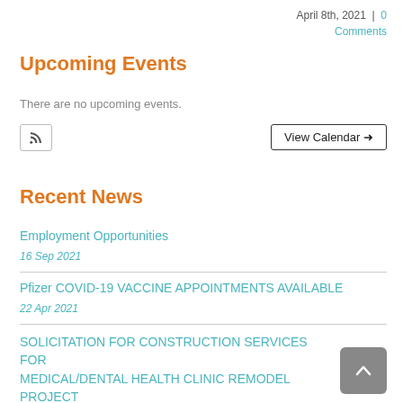April 8th, 2021  |  0 Comments
Upcoming Events
There are no upcoming events.
RSS  |  View Calendar →
Recent News
Employment Opportunities
16 Sep 2021
Pfizer COVID-19 VACCINE APPOINTMENTS AVAILABLE
22 Apr 2021
SOLICITATION FOR CONSTRUCTION SERVICES FOR MEDICAL/DENTAL HEALTH CLINIC REMODEL PROJECT